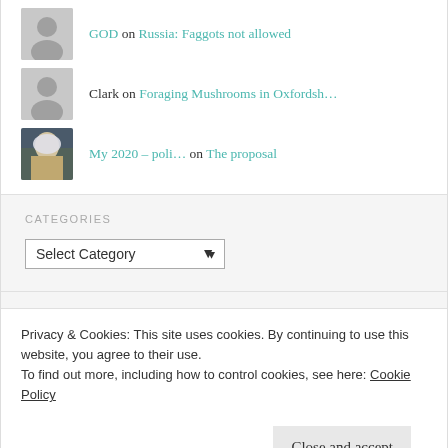GOD on Russia: Faggots not allowed
Clark on Foraging Mushrooms in Oxfordsh…
My 2020 – poli… on The proposal
CATEGORIES
Select Category
Privacy & Cookies: This site uses cookies. By continuing to use this website, you agree to their use.
To find out more, including how to control cookies, see here: Cookie Policy
Close and accept